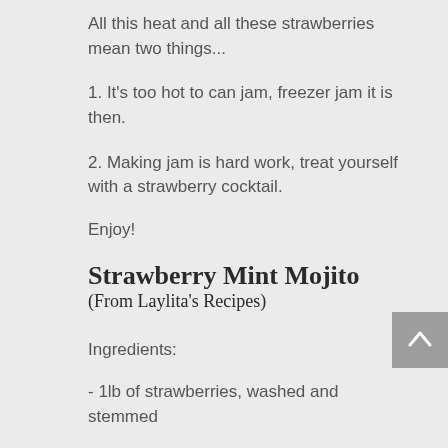All this heat and all these strawberries mean two things...
1. It's too hot to can jam, freezer jam it is then.
2. Making jam is hard work, treat yourself with a strawberry cocktail.
Enjoy!
Strawberry Mint Mojito
(From Laylita's Recipes)
Ingredients:
- 1lb of strawberries, washed and stemmed